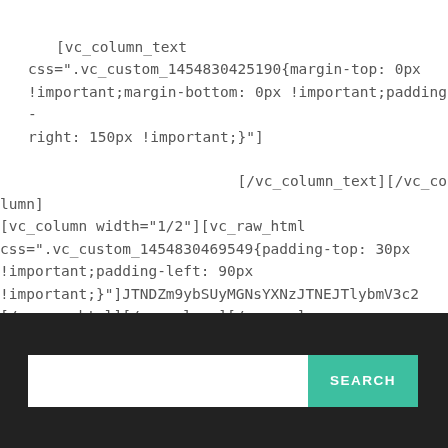[vc_column_text css=".vc_custom_1454830425190{margin-top: 0px !important;margin-bottom: 0px !important;padding-right: 150px !important;}"]
[/vc_column_text][/vc_column] [vc_column width="1/2"][vc_raw_html css=".vc_custom_1454830469549{padding-top: 30px !important;padding-left: 90px !important;}"]JTNDZm9ybSUyMGNsYXNzJTNEJTlybmV3c2 [/vc_raw_html][/vc_column][/vc_row]
[Figure (screenshot): Dark footer bar with a white search input field and a teal SEARCH button]